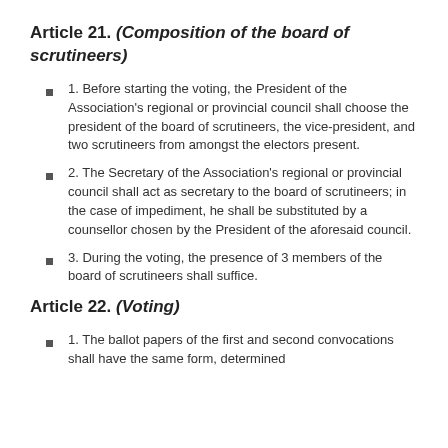Article 21. (Composition of the board of scrutineers)
1. Before starting the voting, the President of the Association's regional or provincial council shall choose the president of the board of scrutineers, the vice-president, and two scrutineers from amongst the electors present.
2. The Secretary of the Association's regional or provincial council shall act as secretary to the board of scrutineers; in the case of impediment, he shall be substituted by a counsellor chosen by the President of the aforesaid council.
3. During the voting, the presence of 3 members of the board of scrutineers shall suffice.
Article 22. (Voting)
1. The ballot papers of the first and second convocations shall have the same form, determined